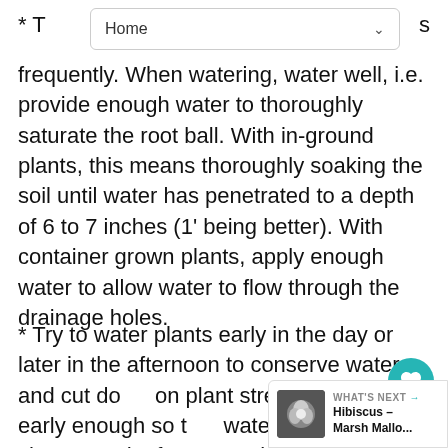Home
* These plants do not need to be watered frequently. When watering, water well, i.e. provide enough water to thoroughly saturate the root ball. With in-ground plants, this means thoroughly soaking the soil until water has penetrated to a depth of 6 to 7 inches (1' being better). With container grown plants, apply enough water to allow water to flow through the drainage holes.
* Try to water plants early in the day or later in the afternoon to conserve water and cut down on plant stress. Do water early enough so that water has had a chance to dry from plant leaves prior to night fall. This is particularly important if you have had fungus problems.
[Figure (screenshot): What's Next panel with Hibiscus - Marsh Mallow thumbnail and navigation arrow]